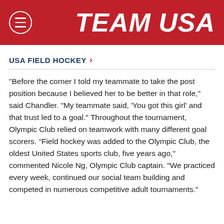TEAM USA
USA FIELD HOCKEY >
“Before the corner I told my teammate to take the post position because I believed her to be better in that role,” said Chandler. "My teammate said, 'You got this girl' and that trust led to a goal." Throughout the tournament, Olympic Club relied on teamwork with many different goal scorers. "Field hockey was added to the Olympic Club, the oldest United States sports club, five years ago," commented Nicole Ng, Olympic Club captain. “We practiced every week, continued our social team building and competed in numerous competitive adult tournaments.”